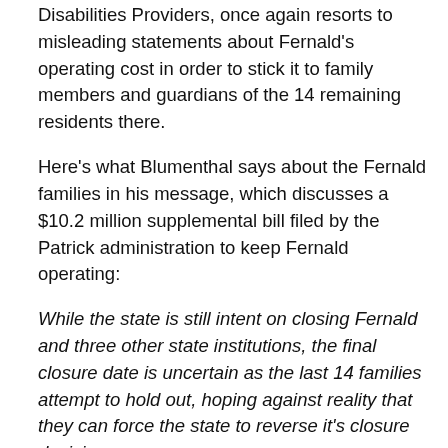Disabilities Providers, once again resorts to misleading statements about Fernald's operating cost in order to stick it to family members and guardians of the 14 remaining residents there.
Here's what Blumenthal says about the Fernald families in his message, which discusses a $10.2 million supplemental bill filed by the Patrick administration to keep Fernald operating:
While the state is still intent on closing Fernald and three other state institutions, the final closure date is uncertain as the last 14 families attempt to hold out, hoping against reality that they can force the state to reverse it's closure decision.
Despite the families being offered “equal to or better services” per federal Court Orders, the last Fernald